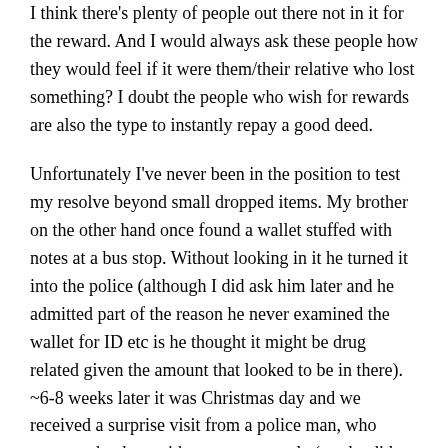I think there's plenty of people out there not in it for the reward. And I would always ask these people how they would feel if it were them/their relative who lost something? I doubt the people who wish for rewards are also the type to instantly repay a good deed.
Unfortunately I've never been in the position to test my resolve beyond small dropped items. My brother on the other hand once found a wallet stuffed with notes at a bus stop. Without looking in it he turned it into the police (although I did ask him later and he admitted part of the reason he never examined the wallet for ID etc is he thought it might be drug related given the amount that looked to be in there). ~6-8 weeks later it was Christmas day and we received a surprise visit from a police man, who came to the door with a games console (yes he did get a reward but it was not expected or asked for) and the whole story. Apparently the wallet belonged to an old man with dementia. He managed to sneak past his wife and carer, get to the bank and withdraw the maximum amount that day (which transpired to be 5k!). The man planned to go back to his old home (~200 miles away) but arrived confused at the train station and had to be taken home by the police (and unfortunately as I understand it the man